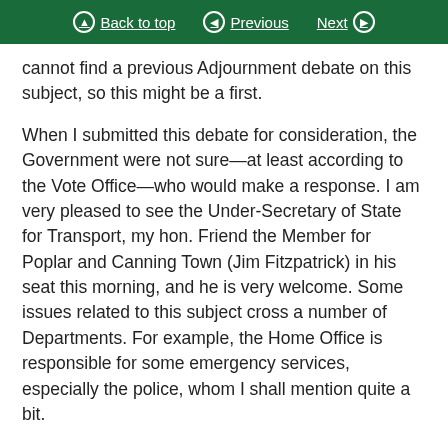Back to top | Previous | Next
cannot find a previous Adjournment debate on this subject, so this might be a first.
When I submitted this debate for consideration, the Government were not sure—at least according to the Vote Office—who would make a response. I am very pleased to see the Under-Secretary of State for Transport, my hon. Friend the Member for Poplar and Canning Town (Jim Fitzpatrick) in his seat this morning, and he is very welcome. Some issues related to this subject cross a number of Departments. For example, the Home Office is responsible for some emergency services, especially the police, whom I shall mention quite a bit.
The Bolton mountain rescue team—I will call it the